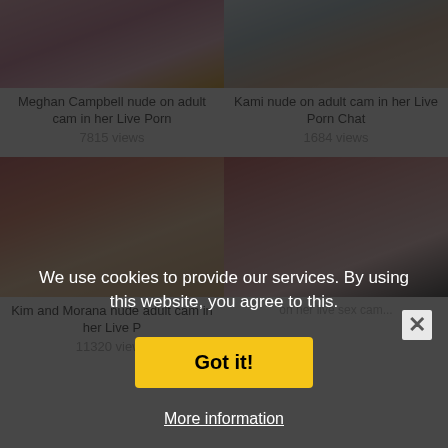[Figure (photo): Thumbnail image of Meghan Campbell in bikini top]
Meghan Campbell nude on adult cam in her Live Porn
7815 views
[Figure (photo): Thumbnail image of Kami on adult cam]
Kami nude on adult cam in her Live Porn Chat
1684 views
[Figure (photo): Thumbnail image of Kim and Morana on adult cam]
Kim and Morana nude adult cam in her Live P
11320 views
[Figure (photo): Thumbnail image of two women on live sex cam]
We use cookies to provide our services. By using this website, you agree to this.
Got it!
More information